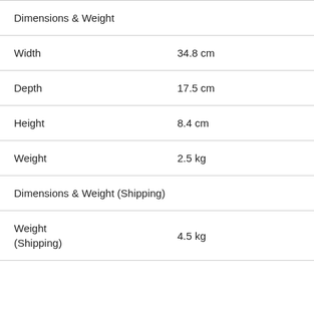| Dimensions & Weight |  |
| Width | 34.8 cm |
| Depth | 17.5 cm |
| Height | 8.4 cm |
| Weight | 2.5 kg |
| Dimensions & Weight (Shipping) |  |
| Weight (Shipping) | 4.5 kg |